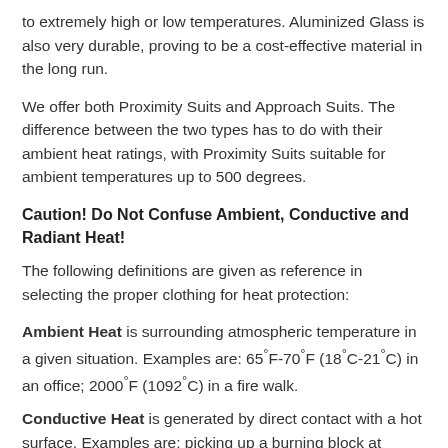to extremely high or low temperatures. Aluminized Glass is also very durable, proving to be a cost-effective material in the long run.
We offer both Proximity Suits and Approach Suits. The difference between the two types has to do with their ambient heat ratings, with Proximity Suits suitable for ambient temperatures up to 500 degrees.
Caution! Do Not Confuse Ambient, Conductive and Radiant Heat!
The following definitions are given as reference in selecting the proper clothing for heat protection:
Ambient Heat is surrounding atmospheric temperature in a given situation. Examples are: 65°F-70°F (18°C-21°C) in an office; 2000°F (1092°C) in a fire walk.
Conductive Heat is generated by direct contact with a hot surface. Examples are: picking up a burning block at 600°F